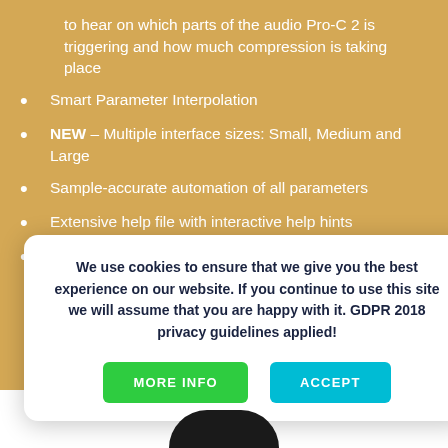to hear on which parts of the audio Pro-C 2 is triggering and how much compression is taking place
Smart Parameter Interpolation
NEW – Multiple interface sizes: Small, Medium and Large
Sample-accurate automation of all parameters
Extensive help file with interactive help hints
Available in VST, VST3, Audio Units, AAX Native and Audio Suite formats (all both 64 bit and 32 bit)
We use cookies to ensure that we give you the best experience on our website. If you continue to use this site we will assume that you are happy with it. GDPR 2018 privacy guidelines applied!